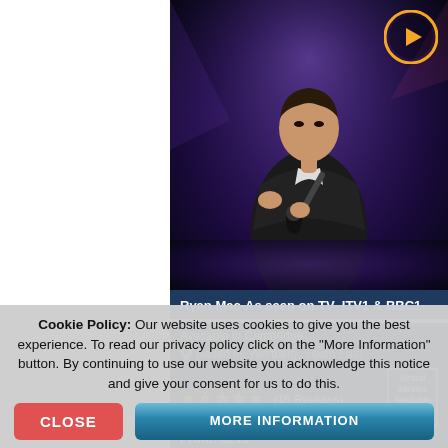[Figure (photo): A male singer performing on stage, holding a microphone, wearing a dark suit, in dramatic stage lighting with purple/blue tones]
Ryan Mac-As seen on TV- ITV1 & BBC1-
Available in Cambridge
Based in: Worthing, South East
★★★★★ (15 Reviews)
Virtual Service Available
From: £210
Cookie Policy: Our website uses cookies to give you the best experience. To read our privacy policy click on the "More Information" button. By continuing to use our website you acknowledge this notice and give your consent for us to do this.
CLOSE
MORE INFORMATION